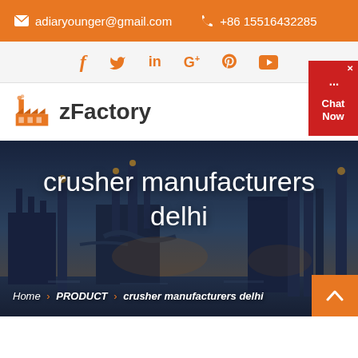adiaryounger@gmail.com  +86 15516432285
[Figure (other): Social media icons bar: Facebook, Twitter, LinkedIn, Google+, Pinterest, YouTube]
[Figure (logo): zFactory logo with orange factory icon and bold text 'zFactory']
[Figure (photo): Industrial factory/refinery at dusk with text overlay 'crusher manufacturers delhi' and breadcrumb navigation]
crusher manufacturers delhi
Home > PRODUCT > crusher manufacturers delhi